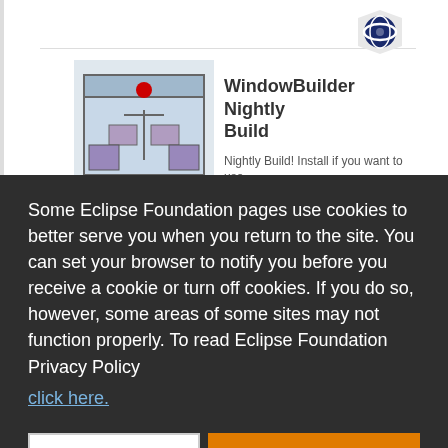[Figure (screenshot): WindowBuilder Nightly Build plugin logo — stylized window/builder icon with red and purple elements]
WindowBuilder Nightly Build
Nightly Build! Install if you want to use
Some Eclipse Foundation pages use cookies to better serve you when you return to the site. You can set your browser to notify you before you receive a cookie or turn off cookies. If you do so, however, some areas of some sites may not function properly. To read Eclipse Foundation Privacy Policy click here.
Decline
Allow cookies